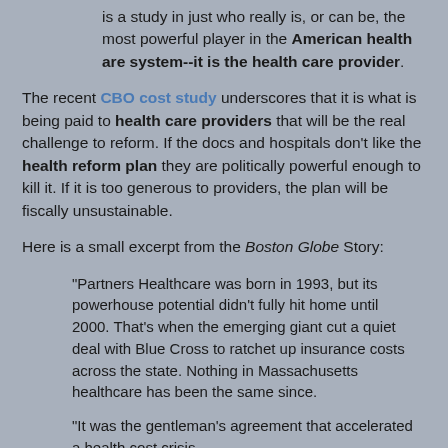is a study in just who really is, or can be, the most powerful player in the American health are system--it is the health care provider.
The recent CBO cost study underscores that it is what is being paid to health care providers that will be the real challenge to reform. If the docs and hospitals don't like the health reform plan they are politically powerful enough to kill it. If it is too generous to providers, the plan will be fiscally unsustainable.
Here is a small excerpt from the Boston Globe Story:
"Partners Healthcare was born in 1993, but its powerhouse potential didn't fully hit home until 2000. That's when the emerging giant cut a quiet deal with Blue Cross to ratchet up insurance costs across the state. Nothing in Massachusetts healthcare has been the same since.
"It was the gentleman's agreement that accelerated a health cost crisis.